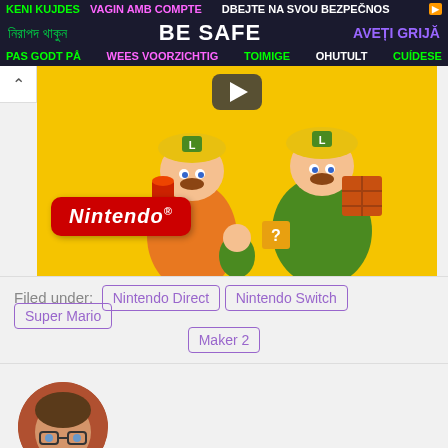[Figure (screenshot): Multilingual 'Be Safe' advertisement banner with text in multiple languages on dark background]
[Figure (screenshot): Nintendo Super Mario Maker 2 YouTube video thumbnail showing Mario and Luigi characters on yellow background with Nintendo logo]
Filed under: Nintendo Direct  Nintendo Switch  Super Mario Maker 2
[Figure (photo): Circular author avatar photo showing a man with glasses]